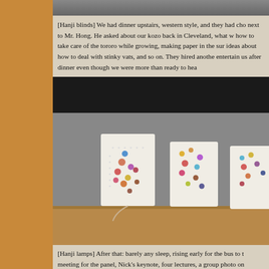[Figure (photo): Partial photo at top of page, appears to show some objects, cropped]
[Hanji blinds] We had dinner upstairs, western style, and they had cho next to Mr. Hong. He asked about our kozo back in Cleveland, what w how to take care of the tororo while growing, making paper in the sur ideas about how to deal with stinky vats, and so on. They hired anothe entertain us after dinner even though we were more than ready to hea
[Figure (photo): Hanji lamps — three white rectangular paper lamps with colorful dot patterns, sitting on a wooden surface against a gray wall]
[Hanji lamps] After that: barely any sleep, rising early for the bus to t meeting for the panel, Nick's keynote, four lectures, a group photo on lectures, the panel, meet and greet, bus to the hotel, dinner and goodb that I have zero pictures and almost lost my voice before the panel be people to meet and talk to!